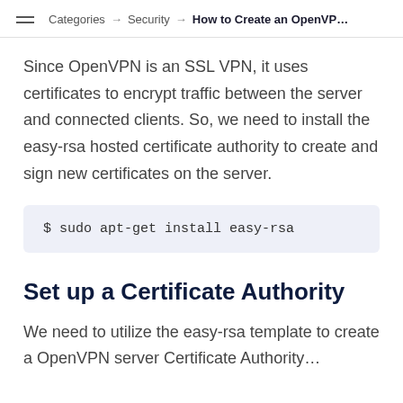Categories → Security → How to Create an OpenVP…
Since OpenVPN is an SSL VPN, it uses certificates to encrypt traffic between the server and connected clients. So, we need to install the easy-rsa hosted certificate authority to create and sign new certificates on the server.
$ sudo apt-get install easy-rsa
Set up a Certificate Authority
We need to utilize the easy-rsa template to create a OpenVPN server Certificate Authority…